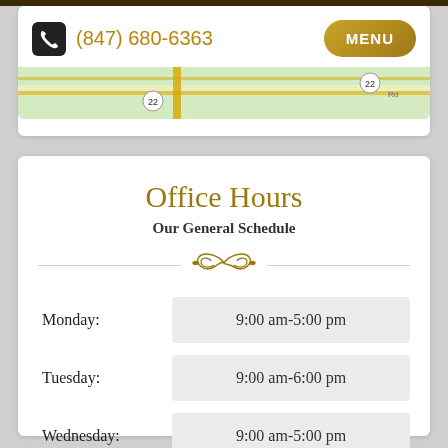(847) 680-6363  MENU
[Figure (map): Partial street map showing roads and route markers including route 22]
Office Hours
Our General Schedule
| Day | Hours |
| --- | --- |
| Monday: | 9:00 am-5:00 pm |
| Tuesday: | 9:00 am-6:00 pm |
| Wednesday: | 9:00 am-5:00 pm |